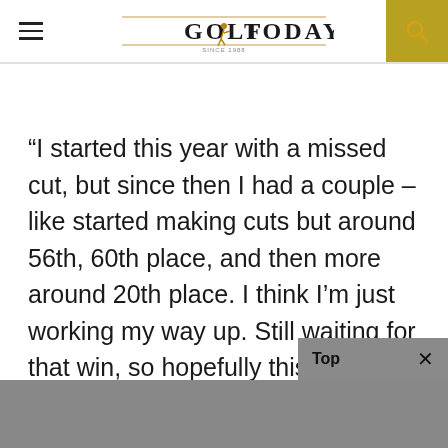GOLF TODAY
“I started this year with a missed cut, but since then I had a couple – like started making cuts but around 56th, 60th place, and then more around 20th place. I think I’m just working my way up. Still waiting for that win, so hopefully this week.”